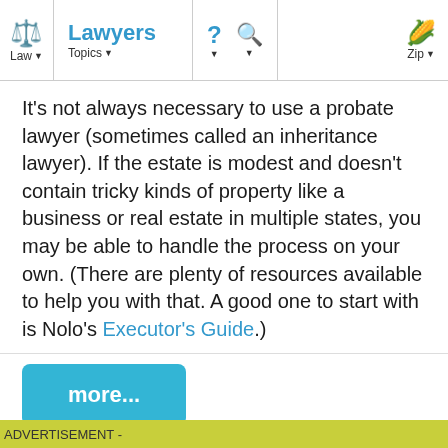Law | Lawyers | Topics | ? | Search | Zip
It’s not always necessary to use a probate lawyer (sometimes called an inheritance lawyer). If the estate is modest and doesn’t contain tricky kinds of property like a business or real estate in multiple states, you may be able to handle the process on your own. (There are plenty of resources available to help you with that. A good one to start with is Nolo’s Executor’s Guide.)
more...
ADVERTISEMENT -